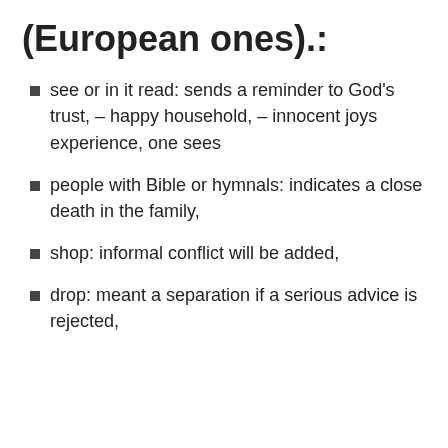(European ones).:
see or in it read: sends a reminder to God's trust, – happy household, – innocent joys experience, one sees
people with Bible or hymnals: indicates a close death in the family,
shop: informal conflict will be added,
drop: meant a separation if a serious advice is rejected,